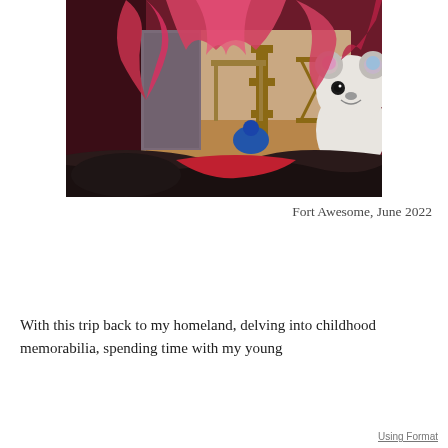[Figure (photo): View from inside a pink blanket fort, looking out through an opening draped with pink and magenta fabric. A wooden table/chairs and a cat tree visible in the background room. A stuffed animal (koala or bear) is visible in the foreground right. Dark blankets in the foreground.]
Fort Awesome, June 2022
With this trip back to my homeland, delving into childhood memorabilia, spending time with my young
Using Format